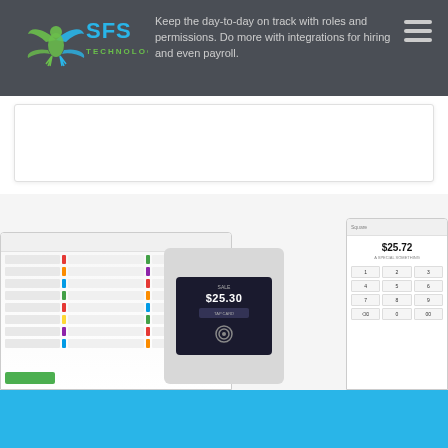[Figure (logo): SFS Technologies logo with eagle/wing emblem in green and blue]
Keep the day-to-day on track with roles and permissions. Do more with integrations for hiring and even payroll.
[Figure (screenshot): POS system screenshots showing tablet with menu/order interface, card payment terminal showing $25.30, and a payment keypad showing $25.72]
[Figure (screenshot): Blue footer strip at bottom of page]